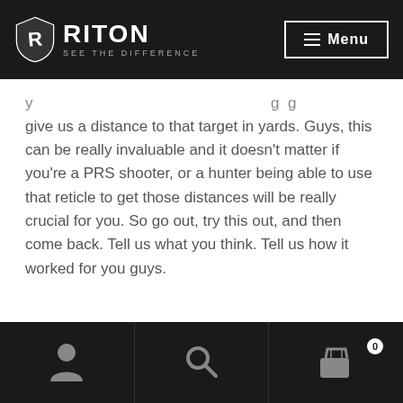[Figure (logo): Riton Optics logo with shield icon and tagline SEE THE DIFFERENCE on dark header bar with Menu button]
give us a distance to that target in yards. Guys, this can be really invaluable and it doesn't matter if you're a PRS shooter, or a hunter being able to use that reticle to get those distances will be really crucial for you. So go out, try this out, and then come back. Tell us what you think. Tell us how it worked for you guys.
[Figure (screenshot): Bottom navigation bar with user account icon, search icon, and cart icon with badge showing 0]